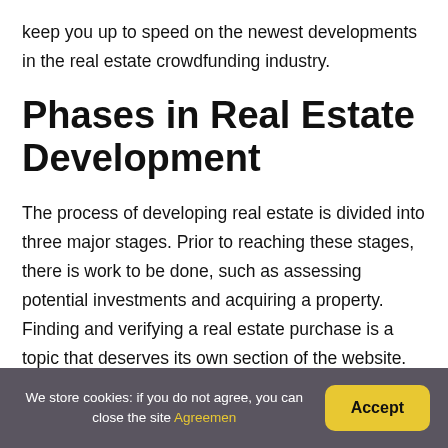keep you up to speed on the newest developments in the real estate crowdfunding industry.
Phases in Real Estate Development
The process of developing real estate is divided into three major stages. Prior to reaching these stages, there is work to be done, such as assessing potential investments and acquiring a property. Finding and verifying a real estate purchase is a topic that deserves its own section of the website. We're talking
We store cookies: if you do not agree, you can close the site Agreemen